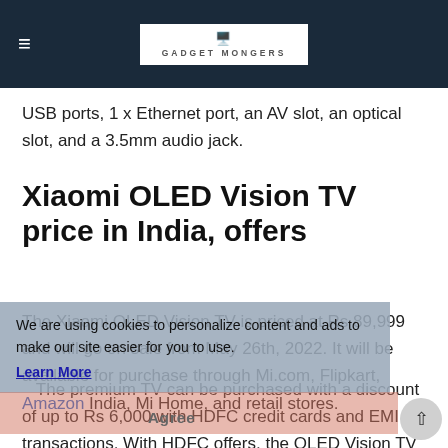GADGET MONGERS
USB ports, 1 x Ethernet port, an AV slot, an optical slot, and a 3.5mm audio jack.
Xiaomi OLED Vision TV price in India, offers
The Xiaomi OLED Vision TV is priced at Rs 89,999 and will go on sale from May 26th, 2022. It will be available for purchase through Mi.com, Flipkart, Amazon India, Mi Home, and retail stores.
We are using cookies to personalize content and ads to make our site easier for you to use.
Learn More
The premium TV can be purchased with a discount of up to Rs 6,000 with HDFC credit cards and EMI transactions. With HDFC offers, the OLED Vision TV can be bought for as low as Rs 83,000. Other